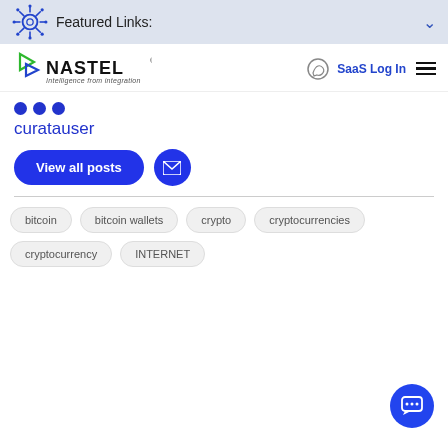Featured Links:
[Figure (logo): Nastel logo with tagline 'Intelligence from integration']
curatauser
View all posts
bitcoin
bitcoin wallets
crypto
cryptocurrencies
cryptocurrency
INTERNET